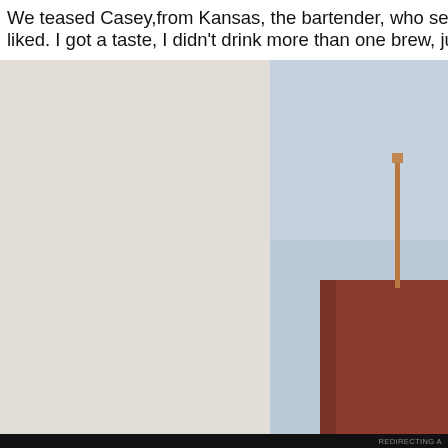We teased Casey,from Kansas, the bartender, who served us a good brew we liked. I got a taste, I didn't drink more than one brew, just in case you
[Figure (photo): Left portion: light textured background (off-white/cream wall). Right portion: exterior photo of a red brick building with a metal chimney/flagpole against a light blue sky.]
Privacy & Cookies: This site uses cookies. By continuing to use this website, you agree to their use.
To find out more, including how to control cookies, see here: Cookie Policy
Close and accept